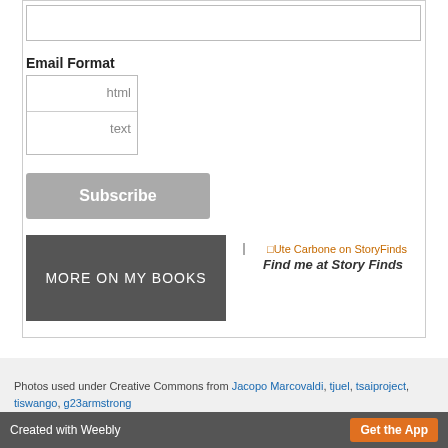[Figure (screenshot): A form input text box at the top of a card]
Email Format
[Figure (screenshot): A select dropdown with options: html, text]
[Figure (screenshot): Subscribe button (grey)]
[Figure (screenshot): MORE ON MY BOOKS dark grey button]
[Figure (screenshot): Ute Carbone on StoryFinds image placeholder link]
Find me at Story Finds
Photos used under Creative Commons from Jacopo Marcovaldi, tjuel, tsaiproject, tiswango, g23armstrong
Version:   Mobile  |  Web
Created with Weebly   Get the App